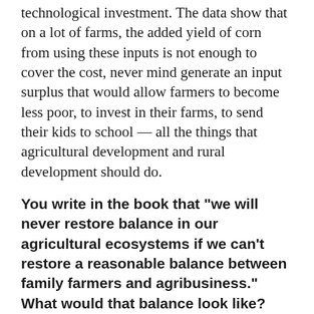technological investment. The data show that on a lot of farms, the added yield of corn from using these inputs is not enough to cover the cost, never mind generate an input surplus that would allow farmers to become less poor, to invest in their farms, to send their kids to school — all the things that agricultural development and rural development should do.
You write in the book that “we will never restore balance in our agricultural ecosystems if we can’t restore a reasonable balance between family farmers and agribusiness.” What would that balance look like?
You can start with the U.S. — that actually would be a very good place to start if we